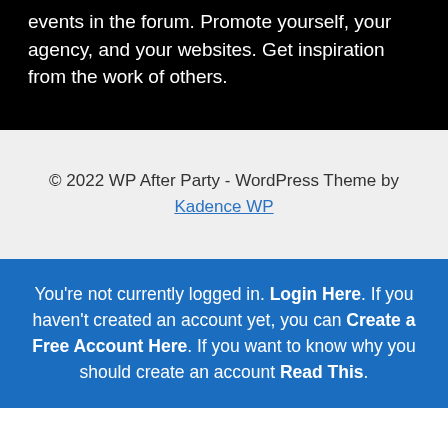browse Member Profiles. Discuss current events in the forum. Promote yourself, your agency, and your websites. Get inspiration from the work of others.
© 2022 WP After Party - WordPress Theme by Kadence WP
You're not currently logged in. Login Here. If you haven't created an account yet, you can Create a Free Account Here. If you want to know why you should create an account Read This.